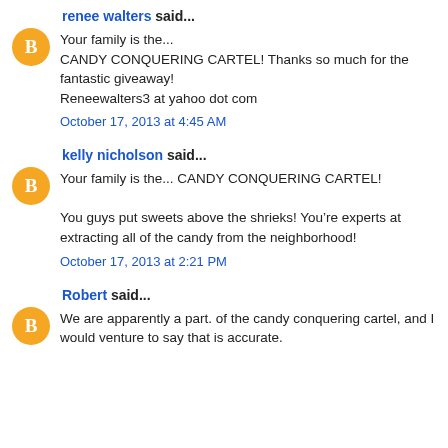renee walters said...
Your family is the...
CANDY CONQUERING CARTEL! Thanks so much for the fantastic giveaway!
Reneewalters3 at yahoo dot com
October 17, 2013 at 4:45 AM
kelly nicholson said...
Your family is the... CANDY CONQUERING CARTEL!

You guys put sweets above the shrieks! You’re experts at extracting all of the candy from the neighborhood!
October 17, 2013 at 2:21 PM
Robert said...
We are apparently a part. of the candy conquering cartel, and I would venture to say that is accurate.